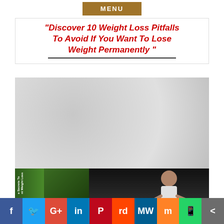MENU
"Discover 10 Weight Loss Pitfalls To Avoid If You Want To Lose Weight Permanently "
[Figure (photo): Grey blurred background image area, likely a blurred photo]
[Figure (photo): 3D book cover showing a woman and text 'Secrets To Permanent Weight Loss']
[Figure (infographic): Social media sharing bar with icons for Facebook, Twitter, Google+, LinkedIn, Pinterest, Reddit, MeWe, Mix, WhatsApp, Share]